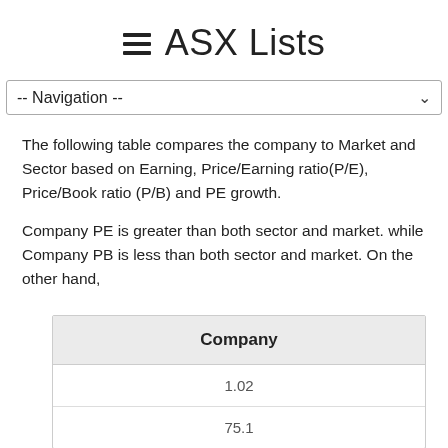ASX Lists
-- Navigation --
The following table compares the company to Market and Sector based on Earning, Price/Earning ratio(P/E), Price/Book ratio (P/B) and PE growth.
Company PE is greater than both sector and market. while Company PB is less than both sector and market. On the other hand,
| Company |
| --- |
| 1.02 |
| 75.1 |